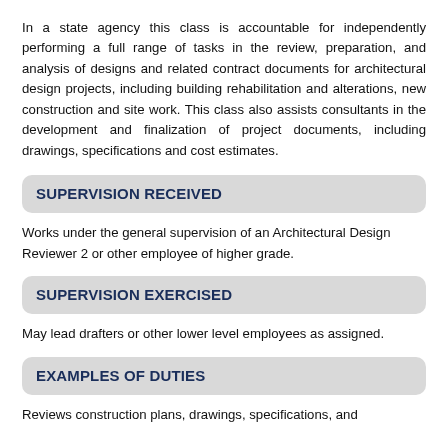In a state agency this class is accountable for independently performing a full range of tasks in the review, preparation, and analysis of designs and related contract documents for architectural design projects, including building rehabilitation and alterations, new construction and site work. This class also assists consultants in the development and finalization of project documents, including drawings, specifications and cost estimates.
SUPERVISION RECEIVED
Works under the general supervision of an Architectural Design Reviewer 2 or other employee of higher grade.
SUPERVISION EXERCISED
May lead drafters or other lower level employees as assigned.
EXAMPLES OF DUTIES
Reviews construction plans, drawings, specifications, and